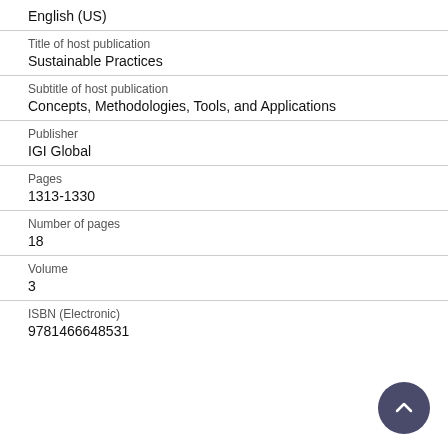English (US)
Title of host publication
Sustainable Practices
Subtitle of host publication
Concepts, Methodologies, Tools, and Applications
Publisher
IGI Global
Pages
1313-1330
Number of pages
18
Volume
3
ISBN (Electronic)
9781466648531